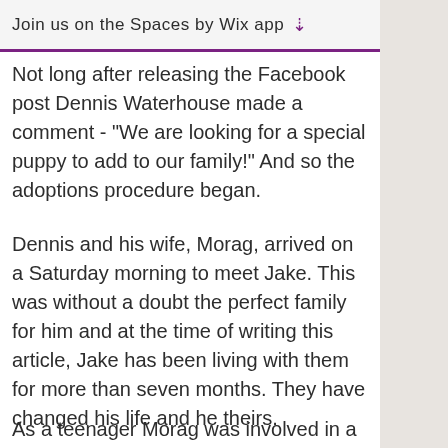Join us on the Spaces by Wix app ↓
Not long after releasing the Facebook post Dennis Waterhouse made a comment - "We are looking for a special puppy to add to our family!" And so the adoptions procedure began.
Dennis and his wife, Morag, arrived on a Saturday morning to meet Jake. This was without a doubt the perfect family for him and at the time of writing this article, Jake has been living with them for more than seven months. They have changed his life and he theirs.
As a teenager Morag was involved in a motorbike accident - sustaining multiple